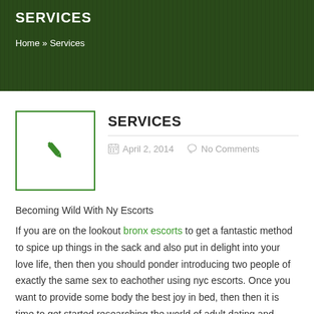SERVICES
Home » Services
SERVICES
April 2, 2014   No Comments
Becoming Wild With Ny Escorts
If you are on the lookout bronx escorts to get a fantastic method to spice up things in the sack and also put in delight into your love life, then then you should ponder introducing two people of exactly the same sex to eachother using nyc escorts. Once you want to provide some body the best joy in bed, then then it is time to get started researching the world of adult dating and meeting new folks. New York has been a favorite destination for most people in the adult entertainment globe for a